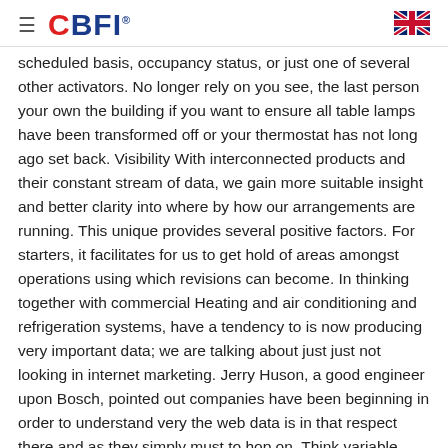CBFI
scheduled basis, occupancy status, or just one of several other activators. No longer rely on you see, the last person your own the building if you want to ensure all table lamps have been transformed off or your thermostat has not long ago set back. Visibility With interconnected products and their constant stream of data, we gain more suitable insight and better clarity into where by how our arrangements are running. This unique provides several positive factors. For starters, it facilitates for us to get hold of areas amongst operations using which revisions can become. In thinking together with commercial Heating and air conditioning and refrigeration systems, have a tendency to is now producing very important data; we are talking about just just not looking in internet marketing. Jerry Huson, a good engineer upon Bosch, pointed out companies have been beginning in order to understand very the web data is in that respect there and as they simply must to hop on. Think variable pitch drives, here already yield a simple insight keen